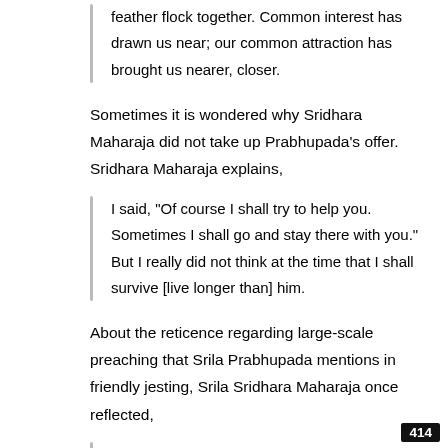feather flock together. Common interest has drawn us near; our common attraction has brought us nearer, closer.
Sometimes it is wondered why Sridhara Maharaja did not take up Prabhupada’s offer. Sridhara Maharaja explains,
I said, “Of course I shall try to help you. Sometimes I shall go and stay there with you.” But I really did not think at the time that I shall survive [live longer than] him.
About the reticence regarding large-scale preaching that Srila Prabhupada mentions in friendly jesting, Srila Sridhara Maharaja once reflected,
I did not want to become a big person. That is not
414